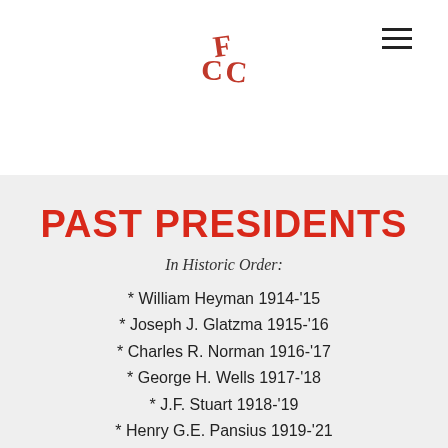[Figure (logo): Stylized GFC or CFC monogram logo in red, serif letters intertwined]
PAST PRESIDENTS
In Historic Order:
* William Heyman 1914-'15
* Joseph J. Glatzma 1915-'16
* Charles R. Norman 1916-'17
* George H. Wells 1917-'18
* J.F. Stuart 1918-'19
* Henry G.E. Pansius 1919-'21
* FW Gertzen 1921-'23
* C.S. Levitt 1923-'24